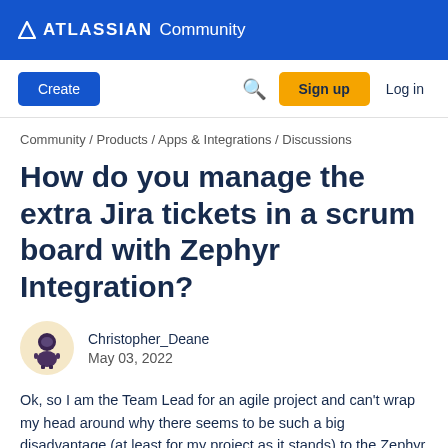ATLASSIAN Community
[Figure (screenshot): Atlassian Community navigation bar with Create button, search icon, Sign up button, and Log in link]
Community / Products / Apps & Integrations / Discussions
How do you manage the extra Jira tickets in a scrum board with Zephyr Integration?
Christopher_Deane
May 03, 2022
Ok, so I am the Team Lead for an agile project and can't wrap my head around why there seems to be such a big disadvantage (at least for my project as it stands) to the Zephyr integration with Jira.